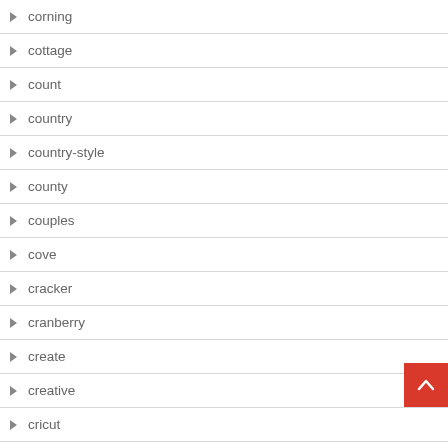corning
cottage
count
country
country-style
county
couples
cove
cracker
cranberry
create
creative
cricut